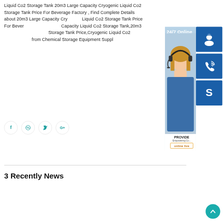Liquid Co2 Storage Tank 20m3 Large Capacity Cryogenic Liquid Co2 Storage Tank Price For Beverage Factory , Find Complete Details about 20m3 Large Capacity Cryogenic Liquid Co2 Storage Tank Price For Beverage Factory,Large Capacity Liquid Co2 Storage Tank,20m3 Cryogenic Liquid Co2 Storage Tank Price,Cryogenic Liquid Co2 Storage Tank from Chemical Storage Equipment Supplier
[Figure (screenshot): Customer service widget overlay showing 24/7 support with headset person image, three blue icon buttons (headset/contact, phone, Skype), and an online live chat button]
[Figure (infographic): Four circular social media share buttons for Facebook, Dribbble, Twitter, and Google+]
[Figure (other): Teal circular scroll-to-top button with upward arrow]
3 Recently News